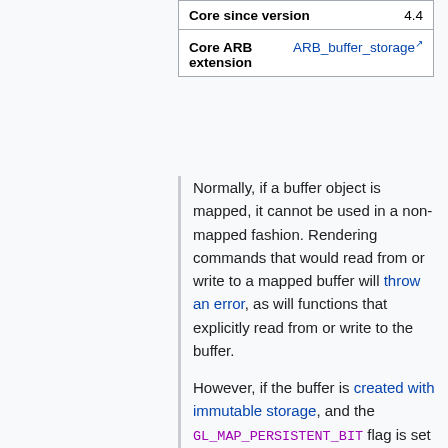| Property | Value |
| --- | --- |
| Core since version | 4.4 |
| Core ARB extension | ARB_buffer_storage |
Normally, if a buffer object is mapped, it cannot be used in a non-mapped fashion. Rendering commands that would read from or write to a mapped buffer will throw an error, as will functions that explicitly read from or write to the buffer.
However, if the buffer is created with immutable storage, and the GL_MAP_PERSISTENT_BIT flag is set when it is created, and the buffer is mapped using the same GL_MAP_PERSISTENT_BIT flag, then the buffer can remain mapped essentially indefinitely. You can have OpenGL use or modify the buffer's